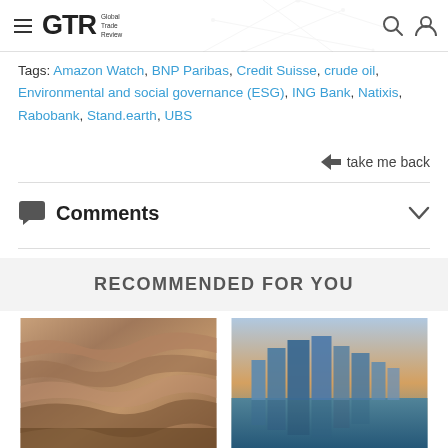GTR Global Trade Review
Tags: Amazon Watch, BNP Paribas, Credit Suisse, crude oil, Environmental and social governance (ESG), ING Bank, Natixis, Rabobank, Stand.earth, UBS
take me back
Comments
RECOMMENDED FOR YOU
[Figure (photo): Rock/mineral quarry or mine face with layered earth tones]
[Figure (photo): City skyline with tall glass buildings reflected in water at dusk]